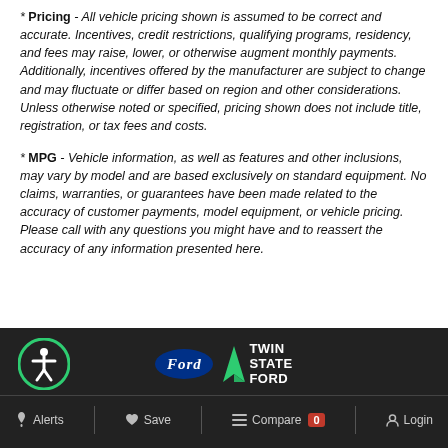* Pricing - All vehicle pricing shown is assumed to be correct and accurate. Incentives, credit restrictions, qualifying programs, residency, and fees may raise, lower, or otherwise augment monthly payments. Additionally, incentives offered by the manufacturer are subject to change and may fluctuate or differ based on region and other considerations. Unless otherwise noted or specified, pricing shown does not include title, registration, or tax fees and costs.
* MPG - Vehicle information, as well as features and other inclusions, may vary by model and are based exclusively on standard equipment. No claims, warranties, or guarantees have been made related to the accuracy of customer payments, model equipment, or vehicle pricing. Please call with any questions you might have and to reassert the accuracy of any information presented here.
[Figure (logo): Ford oval logo and Twin State Ford dealership logo in footer]
Alerts  Save  Compare 0  Login